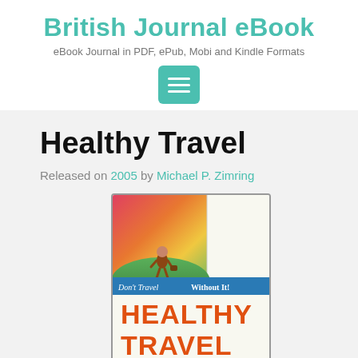British Journal eBook
eBook Journal in PDF, ePub, Mobi and Kindle Formats
[Figure (other): Teal menu/hamburger button icon]
Healthy Travel
Released on 2005 by Michael P. Zimring
[Figure (illustration): Book cover of Healthy Travel showing a person walking on a globe with colorful sky, text 'Don't Travel Without It!' and 'HEALTHY TRAVEL' in orange letters]